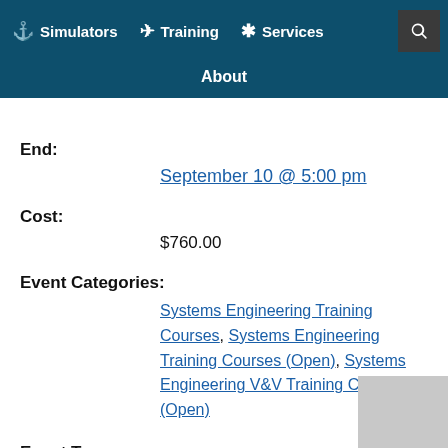Simulators | Training | Services | About
End:
September 10 @ 5:00 pm
Cost:
$760.00
Event Categories:
Systems Engineering Training Courses, Systems Engineering Training Courses (Open), Systems Engineering V&V Training Courses (Open)
Event Tags:
A Air Platforms, Environmental